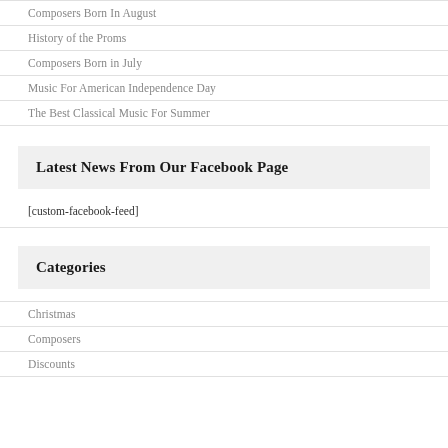Composers Born In August
History of the Proms
Composers Born in July
Music For American Independence Day
The Best Classical Music For Summer
Latest News From Our Facebook Page
[custom-facebook-feed]
Categories
Christmas
Composers
Discounts